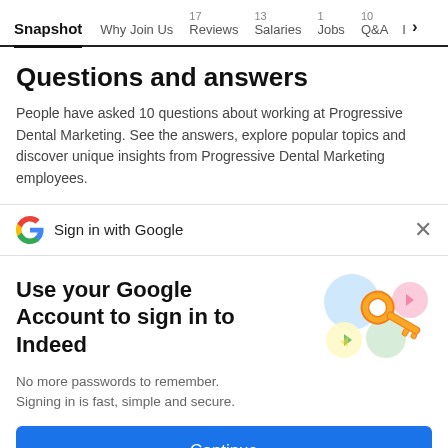Snapshot | Why Join Us | 17 Reviews | 13 Salaries | 1 Jobs | 10 Q&A | I >
Questions and answers
People have asked 10 questions about working at Progressive Dental Marketing. See the answers, explore popular topics and discover unique insights from Progressive Dental Marketing employees.
Sign in with Google
Use your Google Account to sign in to Indeed
No more passwords to remember. Signing in is fast, simple and secure.
[Figure (illustration): Colorful key and circles illustration representing Google sign-in security]
Continue